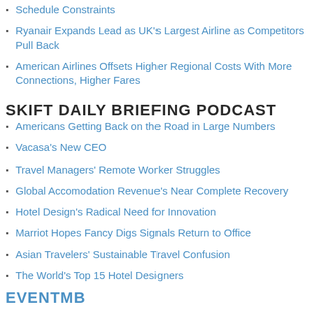Schedule Constraints
Ryanair Expands Lead as UK's Largest Airline as Competitors Pull Back
American Airlines Offsets Higher Regional Costs With More Connections, Higher Fares
SKIFT DAILY BRIEFING PODCAST
Americans Getting Back on the Road in Large Numbers
Vacasa's New CEO
Travel Managers' Remote Worker Struggles
Global Accomodation Revenue's Near Complete Recovery
Hotel Design's Radical Need for Innovation
Marriot Hopes Fancy Digs Signals Return to Office
Asian Travelers' Sustainable Travel Confusion
The World's Top 15 Hotel Designers
EVENTMB